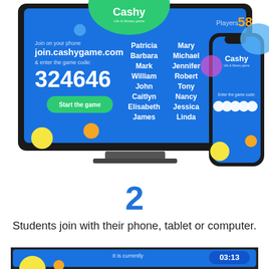[Figure (screenshot): Screenshot of Cashy Life & Money game on a TV screen showing join.cashygame.com with game code 324646, player names list (Patricia, Barbara, Mark, William, John, Caitlyn, Elisabeth, James, Mary, Michael, Jennifer, Robert, Tony, Nancy, Jessica, Linda), Players: 58, and a Start the game button. A smartphone is shown alongside displaying the Cashy app join screen with 6 code entry circles.]
2
Students join with their phone, tablet or computer.
[Figure (screenshot): Partial screenshot of Cashy game TV screen showing 'It is currently' text and a timer badge showing 03:13]